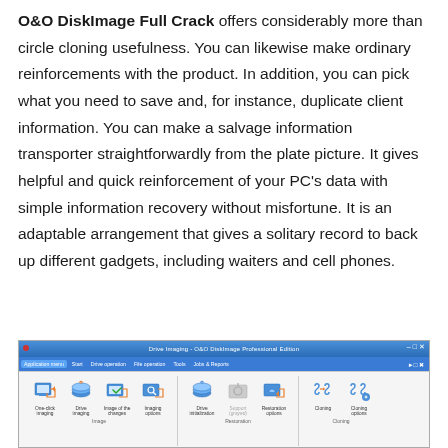O&O DiskImage Full Crack offers considerably more than circle cloning usefulness. You can likewise make ordinary reinforcements with the product. In addition, you can pick what you need to save and, for instance, duplicate client information. You can make a salvage information transporter straightforwardly from the plate picture. It gives helpful and quick reinforcement of your PC's data with simple information recovery without misfortune. It is an adaptable arrangement that gives a solitary record to back up different gadgets, including waiters and cell phones.
[Figure (screenshot): Screenshot of O&O DiskImage Professional Edition application window showing title bar, menu bar with tabs (Application menu, Start, Drive operation, File operation, Tools, Jobs & Reports), and toolbar icons for One-click imaging, Drive imaging, Image of the changes, Imaging options, Drive initialization, Support (grayed), Restoration options, Cloning, Cloning options, grouped under Image, Restoration, and Cloning sections.]